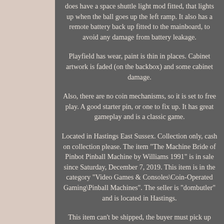does have a space shuttle light mod fitted, that lights up when the ball goes up the left ramp. It also has a remote battery back up fitted to the mainboard, to avoid any damage from battery leakage.
Playfield has wear, paint is thin in places. Cabinet artwork is faded (on the backbox) and some cabinet damage.
Also, there are no coin mechanisms, so it is set to free play. A good starter pin, or one to fix up. It has great gameplay and is a classic game.
Located in Hastings East Sussex. Collection only, cash on collection please. The item "The Machine Bride of Pinbot Pinball Machine by Williams 1991" is in sale since Saturday, December 7, 2019. This item is in the category "Video Games & Consoles\Coin-Operated Gaming\Pinball Machines". The seller is "dombutler" and is located in Hastings.
This item can't be shipped, the buyer must pick up